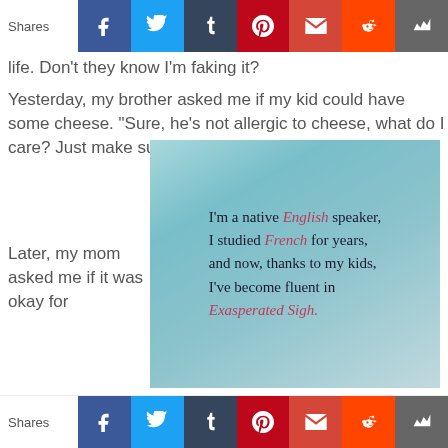Shares  [Facebook] [Twitter] [Tumblr] [Pinterest] [Gmail] [Reddit] [Crown]
life. Don't they know I'm faking it?
Yesterday, my brother asked me if my kid could have some cheese. “Sure, he’s not allergic to cheese, what do I care? Just make sure it’s not too big.”
Later, my mom asked me if it was okay for
[Figure (illustration): Quote image with sky/cloud background reading: I'm a native English speaker, I studied French for years, and now, thanks to my kids, I've become fluent in Exasperated Sigh. The words 'English', 'French', and 'Exasperated Sigh' are in italic red/pink text.]
Shares  [Facebook] [Twitter] [Tumblr] [Pinterest] [Gmail] [Reddit] [Crown]